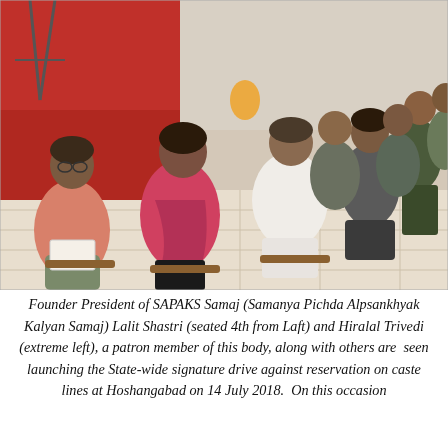[Figure (photo): Group of people seated in chairs at an indoor event. A man in a pink shirt holds papers and sits next to a woman in a pink saree/kurta. Several other men are seated in a row. Some men stand in the background on the right. Red fabric/backdrop is visible in the background on the left. The setting appears to be a hall or office with tiled flooring.]
Founder President of SAPAKS Samaj (Samanya Pichda Alpsankhyak Kalyan Samaj) Lalit Shastri (seated 4th from Laft) and Hiralal Trivedi (extreme left), a patron member of this body, along with others are  seen launching the State-wide signature drive against reservation on caste lines at Hoshangabad on 14 July 2018.  On this occasion